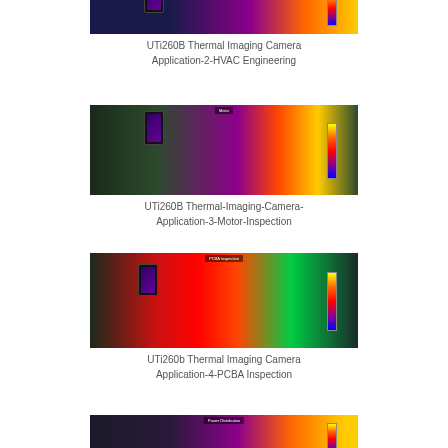[Figure (photo): Thumbnail for UTi260B Thermal Imaging Camera HVAC Engineering application video - shows thermal image with purple and orange heat map]
UTi260B Thermal Imaging Camera Application-2-HVAC Engineering
[Figure (photo): Thumbnail for UTi260B Thermal-Imaging-Camera Application-3-Motor-Inspection - shows motor with thermal camera and heat map overlay]
UTi260B Thermal-Imaging-Camera-Application-3-Motor-Inspection
[Figure (photo): Thumbnail for UTi260b Thermal Imaging Camera Application-4-PCBA Inspection - shows circuit board with thermal camera and colorful heat map]
UTi260b Thermal Imaging Camera Application-4-PCBA Inspection
[Figure (photo): Thumbnail for Power Distribution application video - partially visible at bottom]